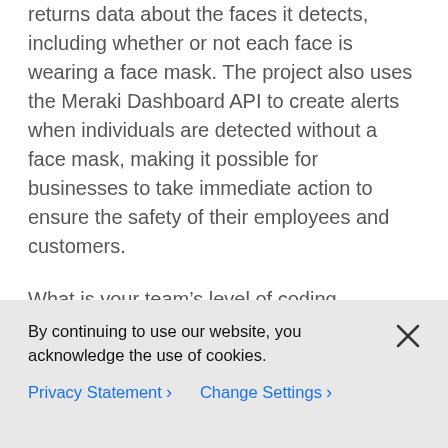returns data about the faces it detects, including whether or not each face is wearing a face mask. The project also uses the Meraki Dashboard API to create alerts when individuals are detected without a face mask, making it possible for businesses to take immediate action to ensure the safety of their employees and customers.
What is your team’s level of coding experience? But if you don’t have access to people with coding experience, automation will be a better choice.
In the end, it really depends on what you need
By continuing to use our website, you acknowledge the use of cookies.
Privacy Statement ›   Change Settings ›